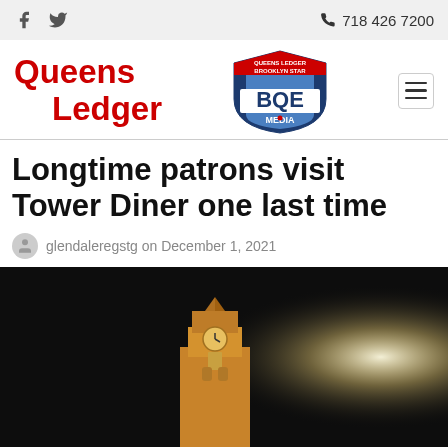Queens Ledger | BQE Media | 718 426 7200
Longtime patrons visit Tower Diner one last time
glendaleregstg on December 1, 2021
[Figure (photo): Night photo of a tower with illuminated clock, dark sky background with bright light on the right side]